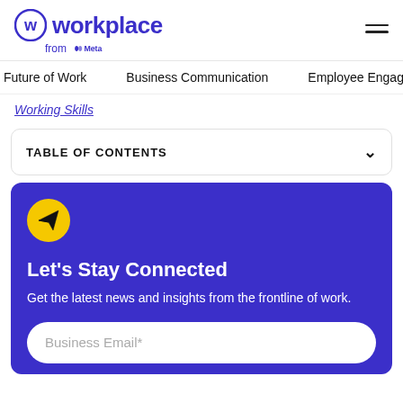[Figure (logo): Workplace from Meta logo — circular W icon and wordmark in purple, with 'from Meta' subtitle]
Future of Work   Business Communication   Employee Engage
Working Skills
TABLE OF CONTENTS
Let's Stay Connected
Get the latest news and insights from the frontline of work.
Business Email*